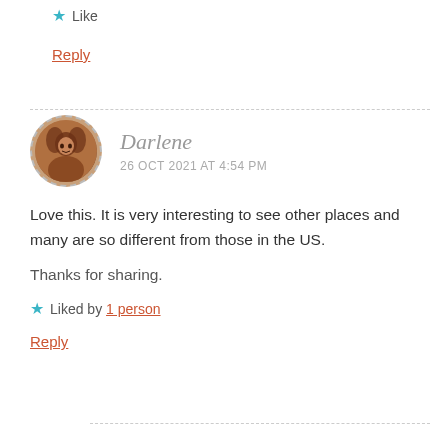★ Like
Reply
Darlene
26 OCT 2021 AT 4:54 PM
Love this. It is very interesting to see other places and many are so different from those in the US.

Thanks for sharing.
★ Liked by 1 person
Reply